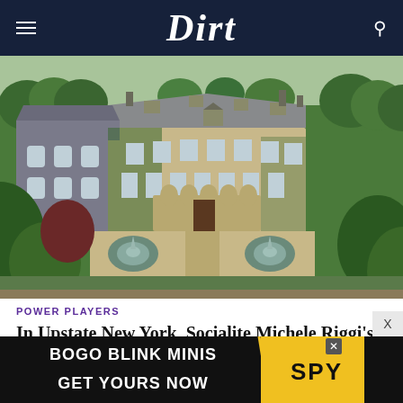Dirt
[Figure (photo): Aerial view of a large stone palatial estate surrounded by lush green trees, ivy-covered walls, arched windows, a grand entrance with fountains in the foreground, in an upstate New York setting.]
POWER PLAYERS
In Upstate New York, Socialite Michele Riggi's Palatial Estate Hits the Market
[Figure (infographic): Advertisement banner: BOGO BLINK MINIS - GET YOURS NOW - SPY logo on yellow background]